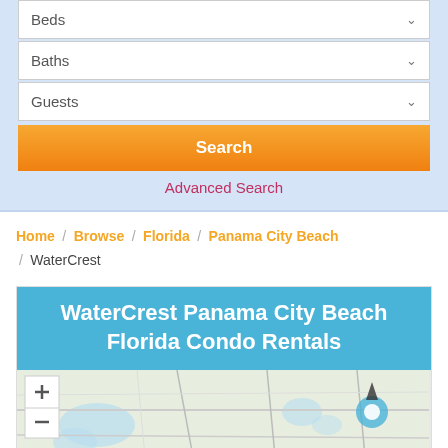Beds
Baths
Guests
Search
Advanced Search
Home / Browse / Florida / Panama City Beach / WaterCrest
WaterCrest Panama City Beach Florida Condo Rentals
[Figure (map): Street map showing WaterCrest area in Panama City Beach Florida with zoom controls (+/-) and map labels 'a P' and 'Beach']